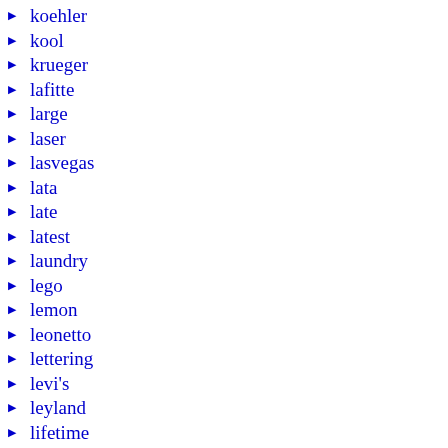koehler
kool
krueger
lafitte
large
laser
lasvegas
lata
late
latest
laundry
lego
lemon
leonetto
lettering
levi's
leyland
lifetime
light
lighted
lions
live
living